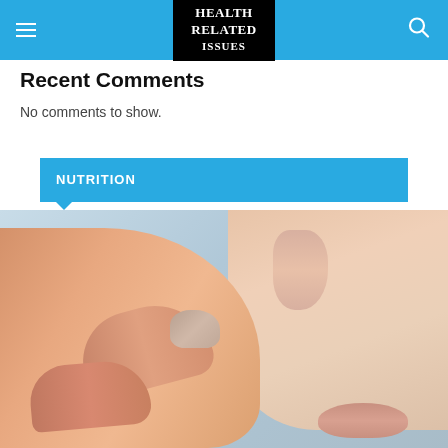HEALTH RELATED ISSUES
Recent Comments
No comments to show.
NUTRITION
[Figure (photo): Close-up photo of a person's fingers touching or pinching near their lips/mouth and nose area, against a light blue-grey background. Health/nutrition related image.]